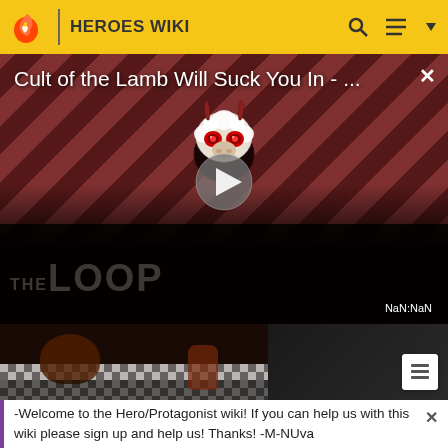HEROES WIKI
[Figure (screenshot): Video player showing 'Cult of the Lamb Will Suck You In - ...' with red/dark diagonal stripe background, a cartoon lamb/creature mascot, play button, THE LOOP watermark, and NaN:NaN timestamp]
[Figure (screenshot): Thumbnail strip showing a dark game scene on the left and a dark silhouette figure on the right with a list/playlist icon]
-Welcome to the Hero/Protagonist wiki! If you can help us with this wiki please sign up and help us! Thanks! -M-NUva